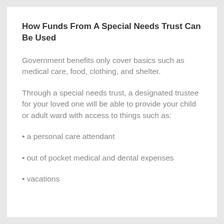How Funds From A Special Needs Trust Can Be Used
Government benefits only cover basics such as medical care, food, clothing, and shelter.
Through a special needs trust, a designated trustee for your loved one will be able to provide your child or adult ward with access to things such as:
• a personal care attendant
• out of pocket medical and dental expenses
• vacations